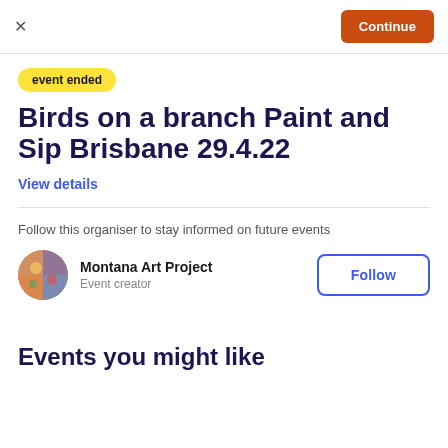× Continue
event ended
Birds on a branch Paint and Sip Brisbane 29.4.22
View details
Follow this organiser to stay informed on future events
Montana Art Project
Event creator
Follow
Events you might like